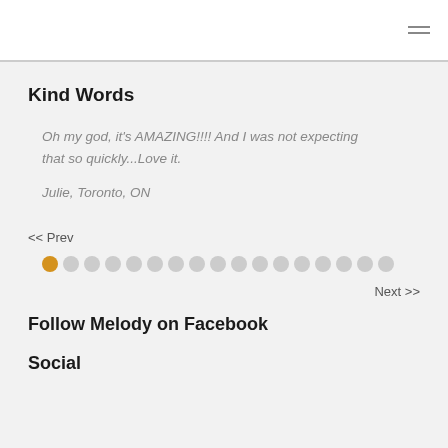Kind Words
Oh my god, it's AMAZING!!!! And I was not expecting that so quickly...Love it.
Julie, Toronto, ON
<< Prev
Next >>
Follow Melody on Facebook
Social